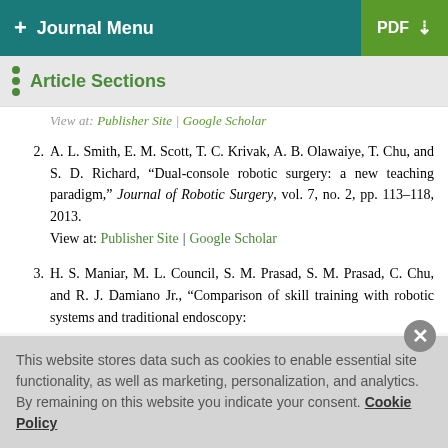+ Journal Menu | PDF ↓
Article Sections
View at: Publisher Site | Google Scholar
2. A. L. Smith, E. M. Scott, T. C. Krivak, A. B. Olawaiye, T. Chu, and S. D. Richard, "Dual-console robotic surgery: a new teaching paradigm," Journal of Robotic Surgery, vol. 7, no. 2, pp. 113–118, 2013. View at: Publisher Site | Google Scholar
3. H. S. Maniar, M. L. Council, S. M. Prasad, S. M. Prasad, C. Chu, and R. J. Damiano Jr., "Comparison of skill training with robotic systems and traditional endoscopy:
This website stores data such as cookies to enable essential site functionality, as well as marketing, personalization, and analytics. By remaining on this website you indicate your consent. Cookie Policy